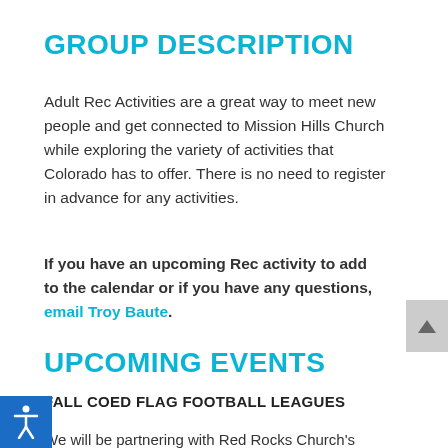GROUP DESCRIPTION
Adult Rec Activities are a great way to meet new people and get connected to Mission Hills Church while exploring the variety of activities that Colorado has to offer. There is no need to register in advance for any activities.
If you have an upcoming Rec activity to add to the calendar or if you have any questions, email Troy Baute.
UPCOMING EVENTS
FALL COED FLAG FOOTBALL LEAGUES
We will be partnering with Red Rocks Church's